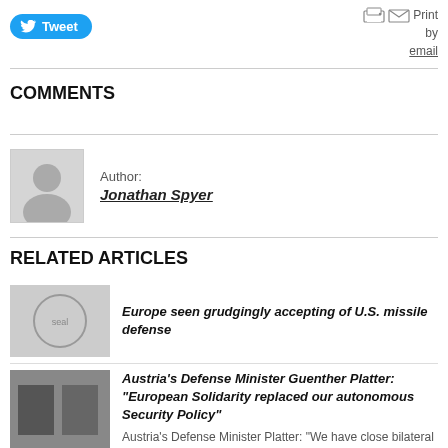[Figure (other): Twitter Tweet button (blue rounded pill)]
Print by email
COMMENTS
Author: Jonathan Spyer
RELATED ARTICLES
Europe seen grudgingly accepting of U.S. missile defense
Austria's Defense Minister Guenther Platter: "European Solidarity replaced our autonomous Security Policy"
Austria's Defense Minister Platter: "We have close bilateral ties with...."